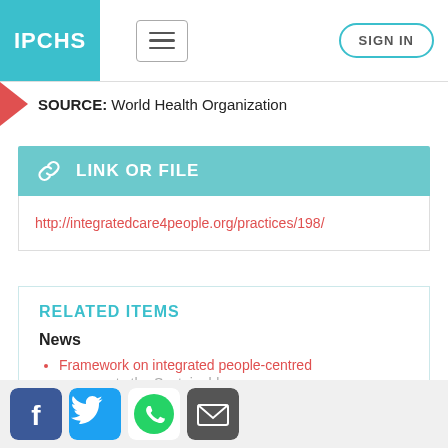IPCHS | SIGN IN
SOURCE: World Health Organization
LINK OR FILE
http://integratedcare4people.org/practices/198/
RELATED ITEMS
News
Framework on integrated people-centred ... supports the Sustainable ... goals
[Figure (infographic): Social media share buttons: Facebook, Twitter, WhatsApp, Email]